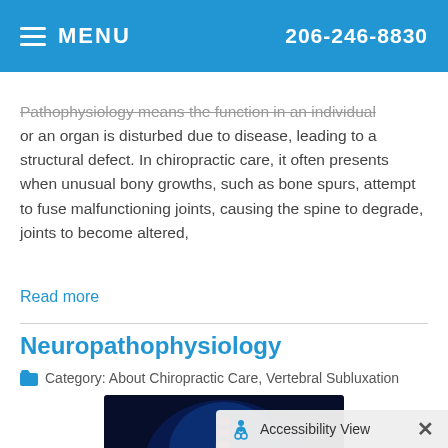MENU   206-246-8830
Pathophysiology means the function in an individual or an organ is disturbed due to disease, leading to a structural defect. In chiropractic care, it often presents when unusual bony growths, such as bone spurs, attempt to fuse malfunctioning joints, causing the spine to degrade, joints to become altered,
Read more
Neuropathophysiology
Category: About Chiropractic Care, Vertebral Subluxation
[Figure (photo): Medical illustration of a human spine highlighted in red/orange against a blue-lit torso background]
Accessibility View